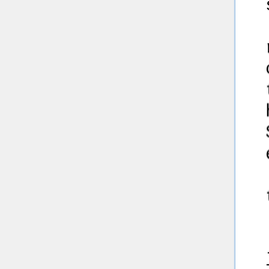situation before
[22:52] cfp: here's the relevant bit of the company's act he was talking about http://www.opsi.gov.uk/ACTS/acts2006/ukpga_20060046_en_13#pt10-ch2-pb2-l1g175
[22:52] AndrewRT: i think the amendments are good
[22:52] cfp: clause 175.
[22:52] cfp: mpeel didn't like them though?
[22:52] cfp: what did you mean by "a little fuzzy"?
[22:53] mpeel: they just seemed unclear, and verging on a double-negative, at least by my understanding of them.
[22:53] mpeel: how about: "unless this is deemed unlikely to give rise to a conflict of interest"
[22:53] KTC: mpeel, the